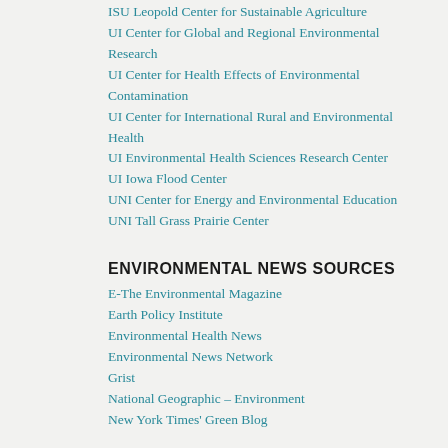ISU Leopold Center for Sustainable Agriculture
UI Center for Global and Regional Environmental Research
UI Center for Health Effects of Environmental Contamination
UI Center for International Rural and Environmental Health
UI Environmental Health Sciences Research Center
UI Iowa Flood Center
UNI Center for Energy and Environmental Education
UNI Tall Grass Prairie Center
ENVIRONMENTAL NEWS SOURCES
E-The Environmental Magazine
Earth Policy Institute
Environmental Health News
Environmental News Network
Grist
National Geographic – Environment
New York Times' Green Blog